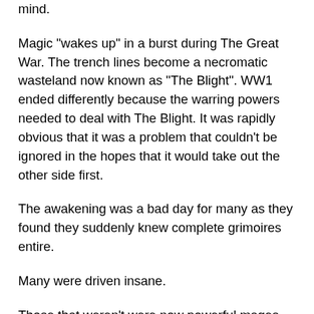mind.
Magic "wakes up" in a burst during The Great War.  The trench lines become a necromatic wasteland now known as "The Blight".  WW1 ended differently because the warring powers needed to deal with The Blight.  It was rapidly obvious that it was a problem that couldn't be ignored in the hopes that it would take out the other side first.
The awakening was a bad day for many as they found they suddenly knew complete grimoires entire.
Many were driven insane.
Those that weren't were now powerful mages.  They formed the Mage's Guild.
The guild and its attendant athame, used with permission from Lawrence Watt-Evans, I've made details for a prohibition era setting that never was played.
There's people who can do magic without casting spells.